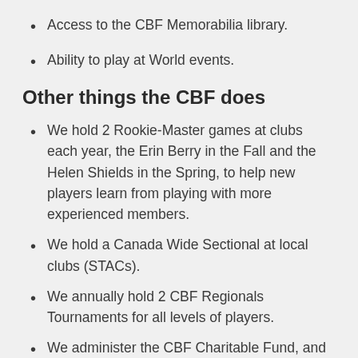Access to the CBF Memorabilia library.
Ability to play at World events.
Other things the CBF does
We hold 2 Rookie-Master games at clubs each year, the Erin Berry in the Fall and the Helen Shields in the Spring, to help new players learn from playing with more experienced members.
We hold a Canada Wide Sectional at local clubs (STACs).
We annually hold 2 CBF Regionals Tournaments for all levels of players.
We administer the CBF Charitable Fund, and ensure that all funds raised for charities in Canada go to Canadian Charities, including an